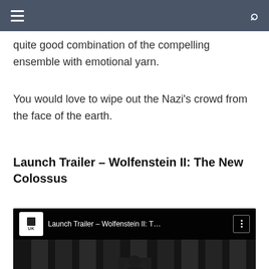Navigation header with hamburger menu and search icon
quite good combination of the compelling ensemble with emotional yarn.
You would love to wipe out the Nazi's crowd from the face of the earth.
Launch Trailer – Wolfenstein II: The New Colossus
[Figure (screenshot): YouTube video embed thumbnail showing Launch Trailer – Wolfenstein II: T... with UK channel logo, video title bar, and three-dot menu. Background shows dark image of Lincoln Memorial columns.]